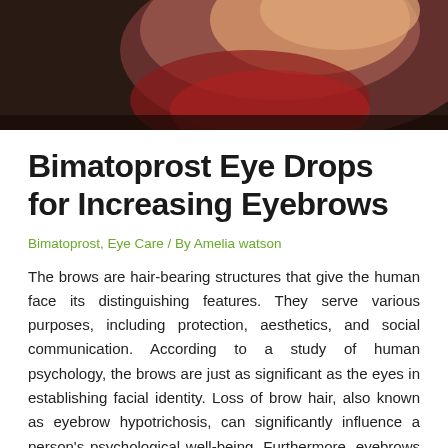[Figure (photo): Woman in red dress, dark background, portrait style photo cropped at top of page]
Bimatoprost Eye Drops for Increasing Eyebrows
Bimatoprost, Eye Care / By Amelia watson
The brows are hair-bearing structures that give the human face its distinguishing features. They serve various purposes, including protection, aesthetics, and social communication. According to a study of human psychology, the brows are just as significant as the eyes in establishing facial identity. Loss of brow hair, also known as eyebrow hypotrichosis, can significantly influence a person's psychological well-being. Furthermore, eyebrows hypotrichosis can occur due to physiologic circumstances or the appearance of a variety of underlying disorders. There